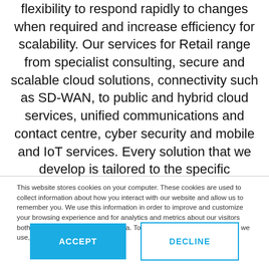flexibility to respond rapidly to changes when required and increase efficiency for scalability. Our services for Retail range from specialist consulting, secure and scalable cloud solutions, connectivity such as SD-WAN, to public and hybrid cloud services, unified communications and contact centre, cyber security and mobile and IoT services. Every solution that we develop is tailored to the specific requirements of each of our clients and built in conjunction with in-
This website stores cookies on your computer. These cookies are used to collect information about how you interact with our website and allow us to remember you. We use this information in order to improve and customize your browsing experience and for analytics and metrics about our visitors both on this website and other media. To find out more about the cookies we use, see our Privacy Policy.
ACCEPT
DECLINE